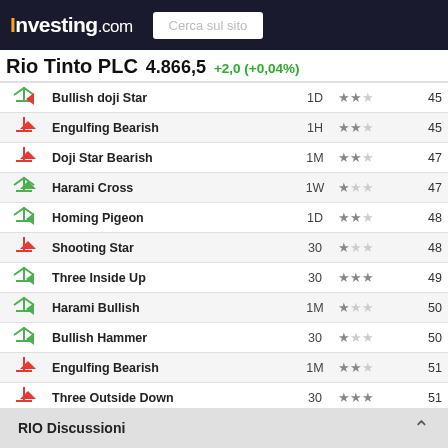Investing.com — Cerca sul sito
Rio Tinto PLC 4.866,5 +2,0 (+0,04%)
|  | Pattern | Timeframe | Reliability | Candle |
| --- | --- | --- | --- | --- |
| ↑ | Bullish doji Star | 1D | ★★☆ | 45 |
| ↓ | Engulfing Bearish | 1H | ★★☆ | 45 |
| ↓ | Doji Star Bearish | 1M | ★★☆ | 47 |
| ↑ | Harami Cross | 1W | ★☆☆ | 47 |
| ↑ | Homing Pigeon | 1D | ★★☆ | 48 |
| ↓ | Shooting Star | 30 | ★☆☆ | 48 |
| ↑ | Three Inside Up | 30 | ★★★ | 49 |
| ↑ | Harami Bullish | 1M | ★☆☆ | 50 |
| ↑ | Bullish Hammer | 30 | ★☆☆ | 50 |
| ↓ | Engulfing Bearish | 1M | ★★☆ | 51 |
| ↓ | Three Outside Down | 30 | ★★★ | 51 |
| ↓ | Engulfing Bearish | 30 | ★★☆ | 52 |
| ↓ | Belt Hold Bearish | 15 | ★☆☆ | 52 |
| ↓ | Harami Bearish | 1W | ★☆☆ | 53 |
| ↑ | Harami B... |  |  |  |
| ↑ | Three In... |  |  |  |
RIO Discussioni